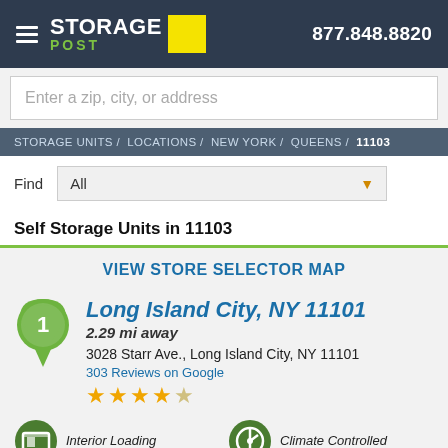STORAGE POST | 877.848.8820
Enter a zip, city, or address
STORAGE UNITS / LOCATIONS / NEW YORK / QUEENS / 11103
Find All
Self Storage Units in 11103
VIEW STORE SELECTOR MAP
Long Island City, NY 11101
2.29 mi away
3028 Starr Ave., Long Island City, NY 11101
303 Reviews on Google
★★★★½
Interior Loading
Climate Controlled
Free Truck and Shuttle